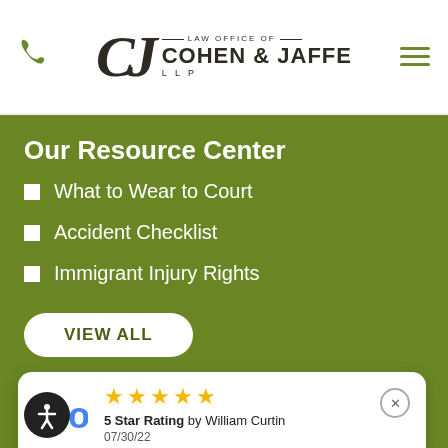Law Office of Cohen & Jaffe LLP
Our Resource Center
What to Wear to Court
Accident Checklist
Immigrant Injury Rights
VIEW ALL
5 Star Rating by William Curtin
07/30/22
No Fee Promise